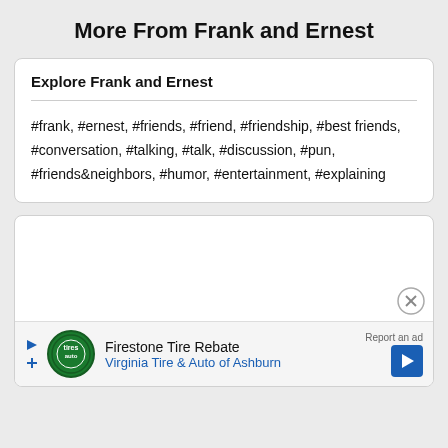More From Frank and Ernest
Explore Frank and Ernest
#frank, #ernest, #friends, #friend, #friendship, #best friends, #conversation, #talking, #talk, #discussion, #pun, #friends&neighbors, #humor, #entertainment, #explaining
[Figure (other): Advertisement card with Firestone Tire Rebate ad from Virginia Tire & Auto of Ashburn, with a close (X) button and a report ad link]